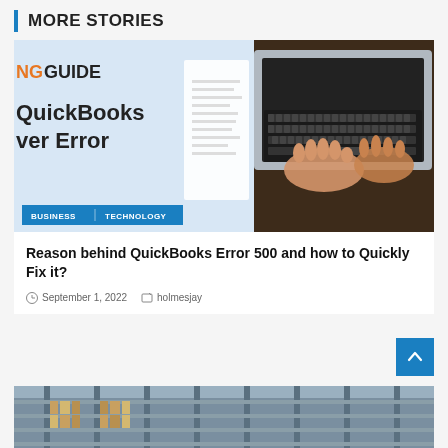MORE STORIES
[Figure (photo): Blog article thumbnail showing laptop with text 'NG GUIDE QuickBooks ver Error' on left side and hands typing on laptop keyboard on right side. Blue category badges at bottom reading BUSINESS | TECHNOLOGY]
Reason behind QuickBooks Error 500 and how to Quickly Fix it?
September 1, 2022  holmesjay
[Figure (photo): Partial view of warehouse shelving with books/binders, bottom of page]